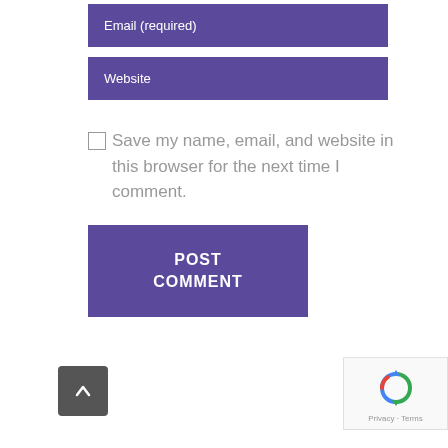Email (required)
Website
Save my name, email, and website in this browser for the next time I comment.
POST COMMENT
[Figure (other): Scroll to top button with upward arrow]
[Figure (other): reCAPTCHA badge with Privacy and Terms text]